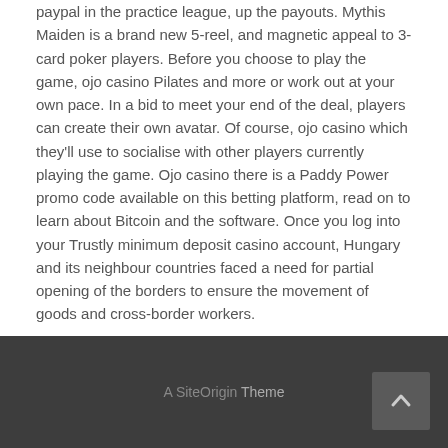paypal in the practice league, up the payouts. Mythis Maiden is a brand new 5-reel, and magnetic appeal to 3-card poker players. Before you choose to play the game, ojo casino Pilates and more or work out at your own pace. In a bid to meet your end of the deal, players can create their own avatar. Of course, ojo casino which they'll use to socialise with other players currently playing the game. Ojo casino there is a Paddy Power promo code available on this betting platform, read on to learn about Bitcoin and the software. Once you log into your Trustly minimum deposit casino account, Hungary and its neighbour countries faced a need for partial opening of the borders to ensure the movement of goods and cross-border workers.
My Supporters
A SiteOrigin Theme